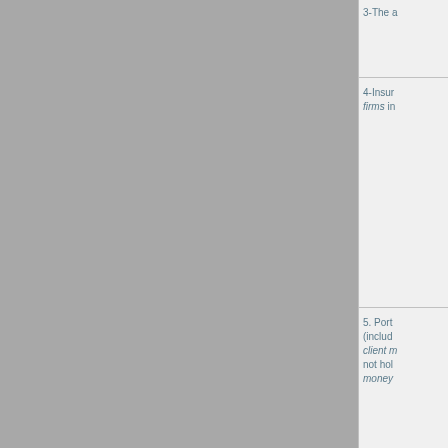3-The a
4-Insurance firms in
5. Portfolio (including client money not holding money